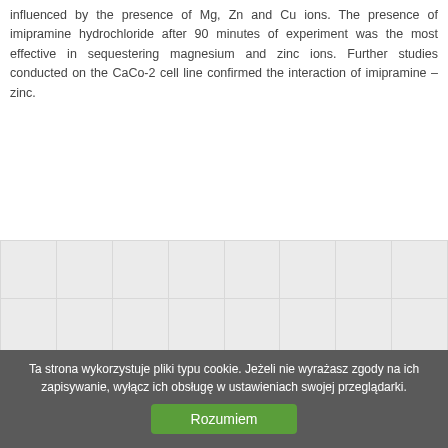influenced by the presence of Mg, Zn and Cu ions. The presence of imipramine hydrochloride after 90 minutes of experiment was the most effective in sequestering magnesium and zinc ions. Further studies conducted on the CaCo-2 cell line confirmed the interaction of imipramine – zinc.
|  |  |  |  |  |  |  |  |
|  |  |  |  |  |  |  |  |
|  |  |  |  |  |  |  |  |
|  |  |  |  |  |  |  |  |
|  |  |  |  |  |  |  |  |
Ta strona wykorzystuje pliki typu cookie. Jeżeli nie wyrażasz zgody na ich zapisywanie, wyłącz ich obsługę w ustawieniach swojej przeglądarki.
Rozumiem